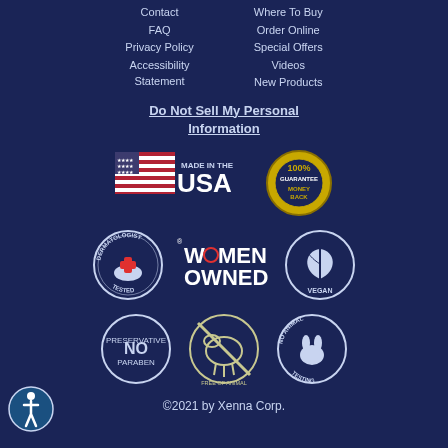Contact
FAQ
Privacy Policy
Accessibility Statement
Where To Buy
Order Online
Special Offers
Videos
New Products
Do Not Sell My Personal Information
[Figure (logo): Made in the USA badge with American flag]
[Figure (logo): 100% Money Back Guarantee seal]
[Figure (logo): Dermatologist Tested badge]
[Figure (logo): Women Owned badge]
[Figure (logo): Vegan badge]
[Figure (logo): No Paraben Preservative badge]
[Figure (logo): Free of Animal Byproduct badge]
[Figure (logo): No Animal Testing badge]
[Figure (logo): Accessibility icon badge]
©2021 by Xenna Corp.